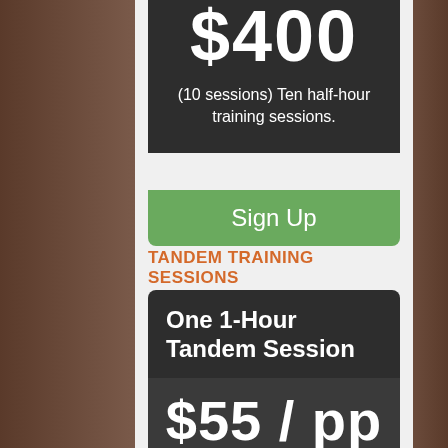$400
(10 sessions) Ten half-hour training sessions.
Sign Up
TANDEM TRAINING SESSIONS
One 1-Hour Tandem Session
$55 / pp